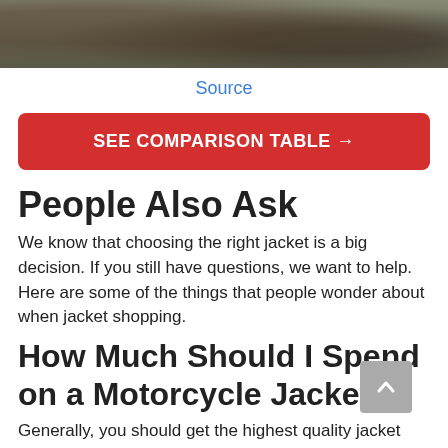[Figure (photo): Partial photo strip showing a desert/outdoor scene with motorcycle riders, shrubs visible, cropped at top]
Source
SEE COMPARISON TABLE →
People Also Ask
We know that choosing the right jacket is a big decision. If you still have questions, we want to help. Here are some of the things that people wonder about when jacket shopping.
How Much Should I Spend on a Motorcycle Jacket?
Generally, you should get the highest quality jacket that you can comfortably afford.